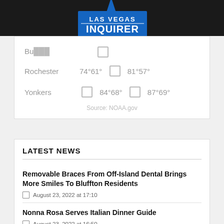LAS VEGAS INQUIRER
| City | Day 1 |  | Day 2 |
| --- | --- | --- | --- |
| Bu... | ... |  | ... |
| Rochester | 74°61° |  | 81°57° |
| Yonkers |  | 84°68° | 87°69° |
Source: NOAA.gov
LATEST NEWS
Removable Braces From Off-Island Dental Brings More Smiles To Bluffton Residents
August 23, 2022 at 17:10
Nonna Rosa Serves Italian Dinner Guide
August 23, 2022 at 16:50